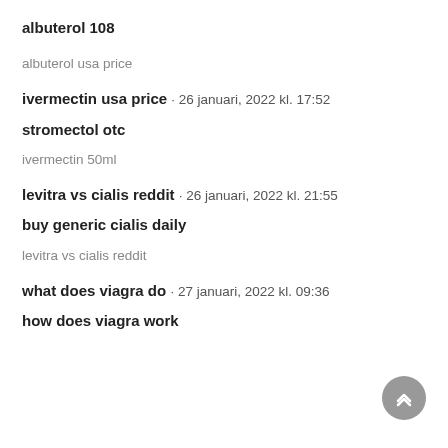albuterol 108
albuterol usa price
ivermectin usa price · 26 januari, 2022 kl. 17:52
stromectol otc
ivermectin 50ml
levitra vs cialis reddit · 26 januari, 2022 kl. 21:55
buy generic cialis daily
levitra vs cialis reddit
what does viagra do · 27 januari, 2022 kl. 09:36
how does viagra work